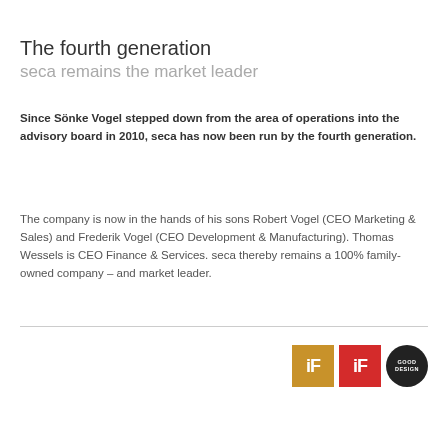The fourth generation
seca remains the market leader
Since Sönke Vogel stepped down from the area of operations into the advisory board in 2010, seca has now been run by the fourth generation.
The company is now in the hands of his sons Robert Vogel (CEO Marketing & Sales) and Frederik Vogel (CEO Development & Manufacturing). Thomas Wessels is CEO Finance & Services. seca thereby remains a 100% family-owned company – and market leader.
[Figure (logo): Three award logos: two iF Design Award logos (gold and red) and one Good Design award logo (circular dark badge)]